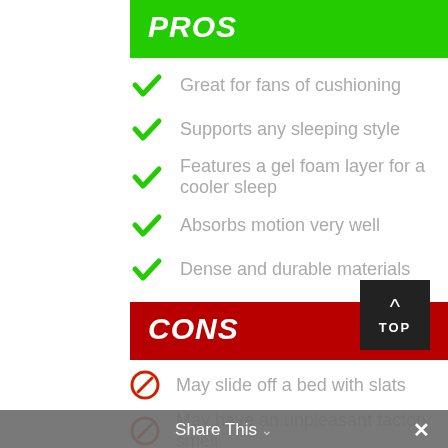PROS
Great for fans of cushioning
Supports any sleeping style
Features a gel foam layer for a cooler sleep
Absorbs motion very well
Dense and durable materials
CONS
May slide off a bed with slats
May have an unpleasant factory smell
If you don't mind the hugging feel of memory foam and need a more affordable
Share This